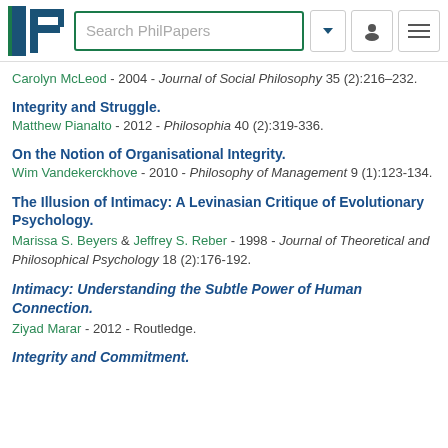PhilPapers search bar with logo
Carolyn McLeod - 2004 - Journal of Social Philosophy 35 (2):216–232.
Integrity and Struggle.
Matthew Pianalto - 2012 - Philosophia 40 (2):319-336.
On the Notion of Organisational Integrity.
Wim Vandekerckhove - 2010 - Philosophy of Management 9 (1):123-134.
The Illusion of Intimacy: A Levinasian Critique of Evolutionary Psychology.
Marissa S. Beyers & Jeffrey S. Reber - 1998 - Journal of Theoretical and Philosophical Psychology 18 (2):176-192.
Intimacy: Understanding the Subtle Power of Human Connection.
Ziyad Marar - 2012 - Routledge.
Integrity and Commitment.